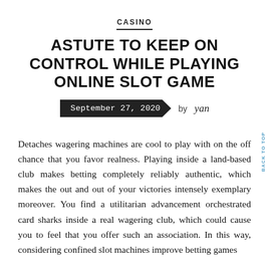CASINO
ASTUTE TO KEEP ON CONTROL WHILE PLAYING ONLINE SLOT GAME
September 27, 2020  by yan
Detaches wagering machines are cool to play with on the off chance that you favor realness. Playing inside a land-based club makes betting completely reliably authentic, which makes the out and out of your victories intensely exemplary moreover. You find a utilitarian advancement orchestrated card sharks inside a real wagering club, which could cause you to feel that you offer such an association. In this way, considering confined slot machines improve betting games